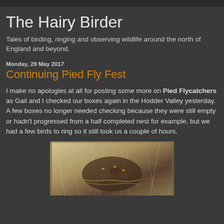The Hairy Birder
Tales of birding, ringing and observing wildlife around the north of England and beyond.
Monday, 29 May 2017
Continuing Pied Fly Fest
I make no apologies at all for posting some more on Pied Flycatchers as Gail and I checked our boxes again in the Hodder Valley yesterday. A few boxes no longer needed checking because they were still empty or hadn't progressed from a half completed nest for example, but we had a few birds to ring so it still took us a couple of hours.
[Figure (photo): Photo of bird nest or nestlings in a wooden nest box, showing feathers/nesting material]